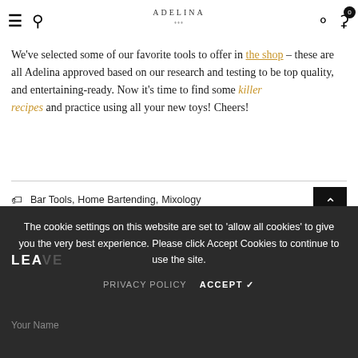ADELINA — navigation header with hamburger, search, logo, user, cart
We've selected some of our favorite tools to offer in the shop – these are all Adelina approved based on our research and testing to be top quality, and entertaining-ready. Now it's time to find some killer recipes and practice using all your new toys! Cheers!
Bar Tools, Home Bartending, Mixology
f  t  P  ⊞  ♟  ♡  ✉  +
< OLDER POST   NEWER POST >
The cookie settings on this website are set to 'allow all cookies' to give you the very best experience. Please click Accept Cookies to continue to use the site.
Your Name